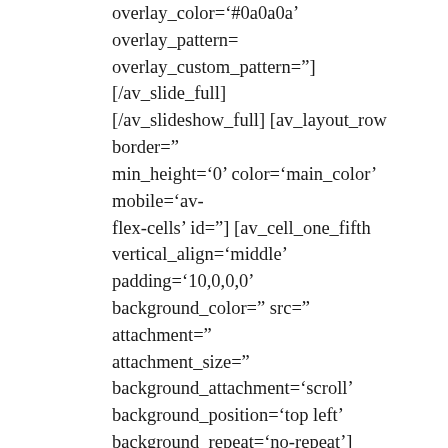overlay_color='#0a0a0a' overlay_pattern= overlay_custom_pattern="][/av_slide_full] [/av_slideshow_full] [av_layout_row border=" min_height='0' color='main_color' mobile='av-flex-cells' id="] [av_cell_one_fifth vertical_align='middle' padding='10,0,0,0' background_color=" src=" attachment=" attachment_size=" background_attachment='scroll' background_position='top left' background_repeat='no-repeat'] [av_image src='https://hammercontractors.com/wp-content/uploads/revbdgs_01.png' attachment='4972' attachment_size='full' align='center' styling=" hover=" link=" target="